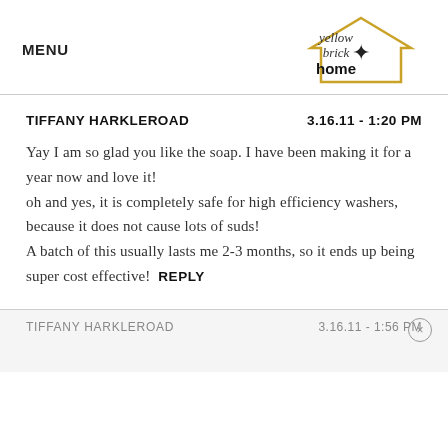MENU | yellow brick home logo
TIFFANY HARKLEROAD   3.16.11 - 1:20 PM
Yay I am so glad you like the soap. I have been making it for a year now and love it!
oh and yes, it is completely safe for high efficiency washers, because it does not cause lots of suds!
A batch of this usually lasts me 2-3 months, so it ends up being super cost effective!   REPLY
TIFFANY HARKLEROAD   3.16.11 - 1:56 PM